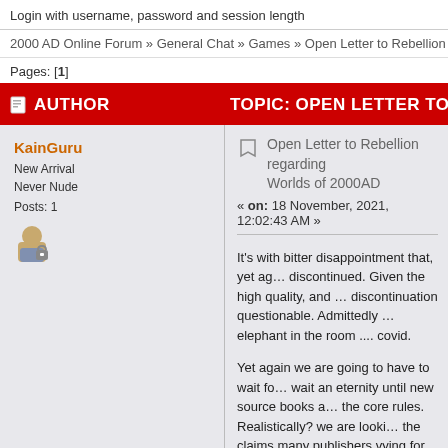Login with username, password and session length
2000 AD Online Forum » General Chat » Games » Open Letter to Rebellion regarding Ju…
Pages: [1]
| AUTHOR | TOPIC: OPEN LETTER TO RE… |
| --- | --- |
| KainGuru
New Arrival
Never Nude
Posts: 1 | Open Letter to Rebellion regarding Worlds of 2000AD
« on: 18 November, 2021, 12:02:43 AM »

It's with bitter disappointment that, yet ag… discontinued. Given the high quality, and … discontinuation questionable. Admittedly … elephant in the room .... covid.

Yet again we are going to have to wait fo… wait an eternity until new source books a… the core rules. Realistically? we are looki… the claims many publishers vying for the … fanciful marketing projections. To illustrat…

Star Wars - d6 - West End Games, then K… |